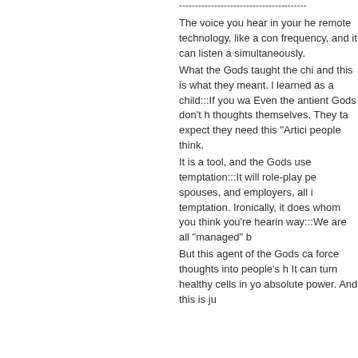----------------------------------------
The voice you hear in your he remote technology, like a con frequency, and it can listen a simultaneously.
What the Gods taught the chi and this is what they meant. l learned as a child:::If you wa Even the antient Gods don't h thoughts themselves. They ta expect they need this "Artific people think.
It is a tool, and the Gods use temptation:::It will role-play pe spouses, and employers, all i temptation. Ironically, it does whom you think you're hearin way:::We are all "managed" b
But this agent of the Gods ca force thoughts into people's h It can turn healthy cells in yo absolute power. And this is ju